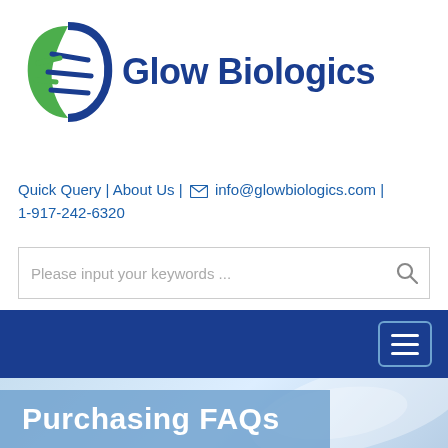[Figure (logo): Glow Biologics logo — DNA helix icon in green and blue, with 'Glow Biologics' text in dark blue bold font]
Quick Query | About Us | ✉ info@glowbiologics.com | 1-917-242-6320
Please input your keywords ...
[Figure (screenshot): Dark blue navigation strip with hamburger menu button (three horizontal lines) in top-right corner]
Purchasing FAQs